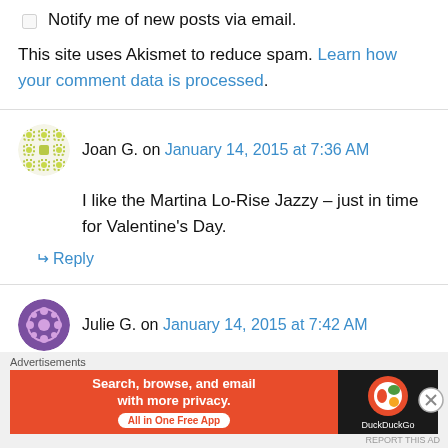Notify me of new posts via email.
This site uses Akismet to reduce spam. Learn how your comment data is processed.
Joan G. on January 14, 2015 at 7:36 AM
I like the Martina Lo-Rise Jazzy – just in time for Valentine's Day.
Reply
Julie G. on January 14, 2015 at 7:42 AM
Advertisements — Search, browse, and email with more privacy. All in One Free App — DuckDuckGo